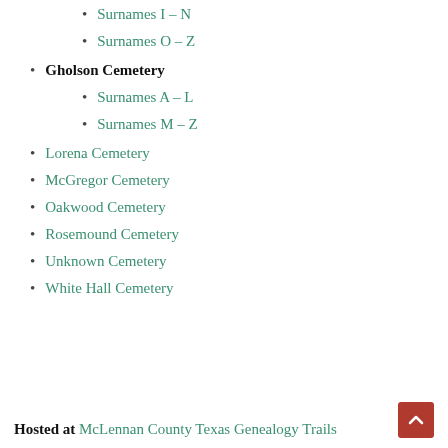Surnames I – N
Surnames O – Z
Gholson Cemetery
Surnames A – L
Surnames M – Z
Lorena Cemetery
McGregor Cemetery
Oakwood Cemetery
Rosemound Cemetery
Unknown Cemetery
White Hall Cemetery
Hosted at McLennan County Texas Genealogy Trails